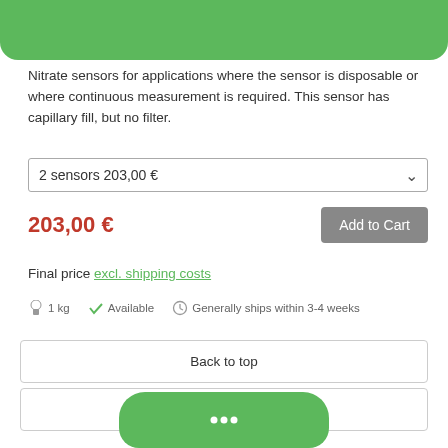[Figure (screenshot): Green rounded bar at the top of the page, partial product image area]
Nitrate sensors for applications where the sensor is disposable or where continuous measurement is required. This sensor has capillary fill, but no filter.
2 sensors 203,00 €
203,00 €
Add to Cart
Final price excl. shipping costs
1 kg   Available   Generally ships within 3-4 weeks
Back to top
Standard View
[Figure (screenshot): Green chat bubble with three dots at bottom of page]